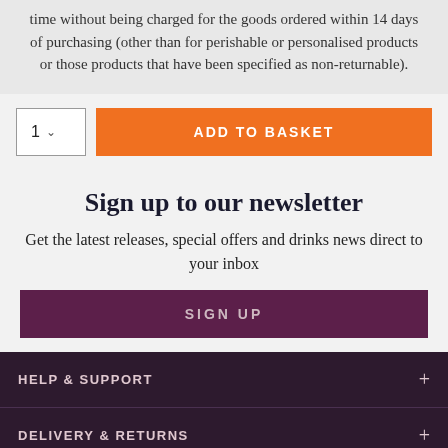time without being charged for the goods ordered within 14 days of purchasing (other than for perishable or personalised products or those products that have been specified as non-returnable).
1  ∨  ADD TO BASKET
Sign up to our newsletter
Get the latest releases, special offers and drinks news direct to your inbox
SIGN UP
HELP & SUPPORT  +
DELIVERY & RETURNS  +
CONTACT US  +